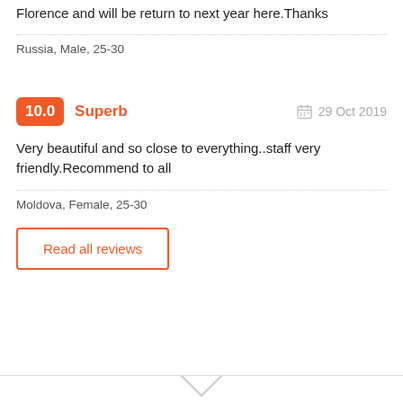Florence and will be return to next year here.Thanks
Russia, Male, 25-30
10.0 Superb   29 Oct 2019
Very beautiful and so close to everything..staff very friendly.Recommend to all
Moldova, Female, 25-30
Read all reviews